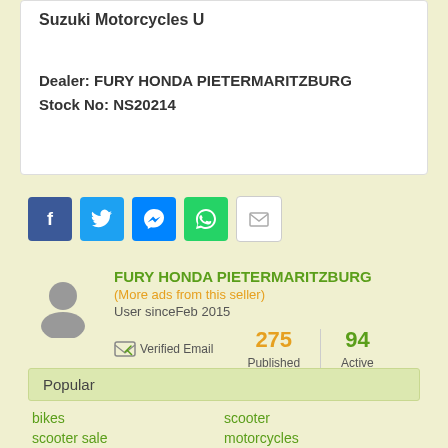Suzuki Motorcycles U
Dealer: FURY HONDA PIETERMARITZBURG
Stock No: NS20214
[Figure (other): Social share icons: Facebook, Twitter, Messenger, WhatsApp, Email]
FURY HONDA PIETERMARITZBURG
(More ads from this seller)
User since Feb 2015
Verified Email  275 Published  94 Active
Popular
bikes
scooter
scooter sale
motorcycles